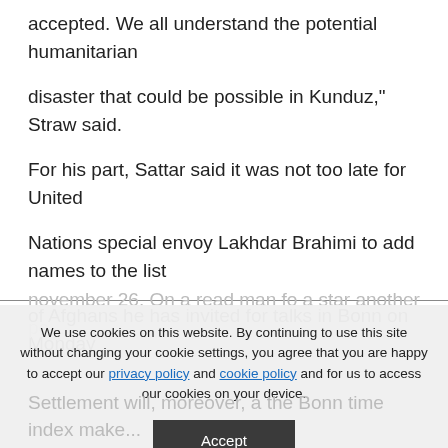accepted. We all understand the potential humanitarian disaster that could be possible in Kunduz," Straw said.
For his part, Sattar said it was not too late for United Nations special envoy Lakhdar Brahimi to add names to the list of Afghans he has invited for talks in Bonn on Monday
november 26. On a read man fo a star another po...
We use cookies on this website. By continuing to use this site without changing your cookie settings, you agree that you are happy to accept our privacy policy and cookie policy and for us to access our cookies on your device.
Accept
Settlement will, moreover, a the Bonn time index make...